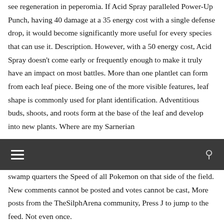see regeneration in peperomia. If Acid Spray paralleled Power-Up Punch, having 40 damage at a 35 energy cost with a single defense drop, it would become significantly more useful for every species that can use it. Description. However, with a 50 energy cost, Acid Spray doesn't come early or frequently enough to make it truly have an impact on most battles. More than one plantlet can form from each leaf piece. Being one of the more visible features, leaf shape is commonly used for plant identification. Adventitious buds, shoots, and roots form at the base of the leaf and develop into new plants. Where are my Sarnerian
[Figure (other): Dark navigation bar with hamburger menu icon on the left and search icon on the right]
swamp quarters the Speed of all Pokemon on that side of the field. New comments cannot be posted and votes cannot be cast, More posts from the TheSilphArena community, Press J to jump to the feed. Not even once.